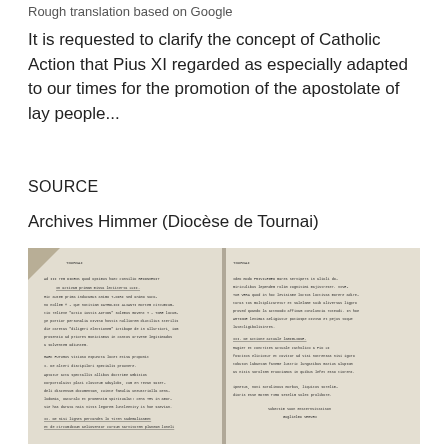Rough translation based on Google
It is requested to clarify the concept of Catholic Action that Pius XI regarded as especially adapted to our times for the promotion of the apostolate of lay people...
SOURCE
Archives Himmer (Diocèse de Tournai)
[Figure (photo): Two-page spread of a typewritten historical document, showing densely typed Latin/French text in small Courier-like font on aged paper, with handwritten annotations. Left page has a folded corner at top-left.]